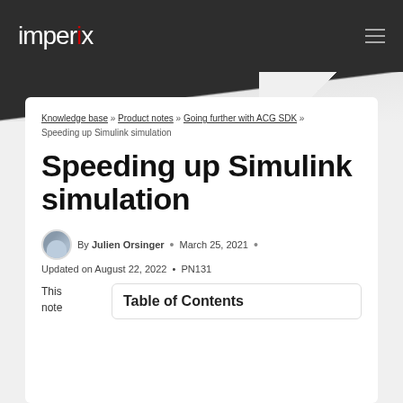imperix
Knowledge base » Product notes » Going further with ACG SDK » Speeding up Simulink simulation
Speeding up Simulink simulation
By Julien Orsinger • March 25, 2021 • Updated on August 22, 2022 • PN131
This note
Table of Contents